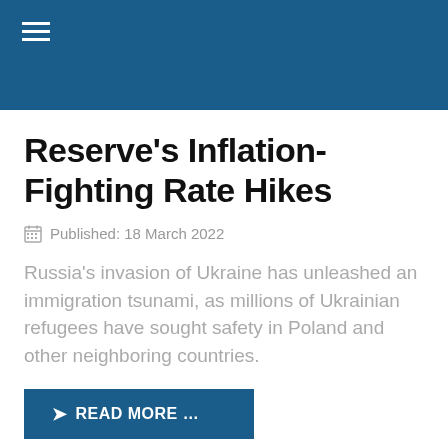Reserve’s Inflation-Fighting Rate Hikes
Published: 18 March 2022
Russia’s invasion of Ukraine has unleashed an immigration tsunami, as millions of Ukrainian refugees have sought safety in Poland and other neighboring countries.
READ MORE …